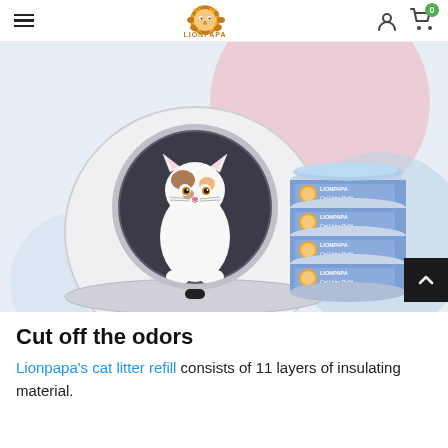LIONPAPA (navigation header with hamburger menu, logo, user icon, cart icon with badge 0)
[Figure (photo): Product photo showing a white spherical automatic cat litter box with a cat inside the circular opening, alongside a stack of four blue LIONPAPA Cat Litter Refill containers. Colorful pastel background of pink and blue circles.]
Cut off the odors
Lionpapa's cat litter refill consists of 11 layers of insulating material.